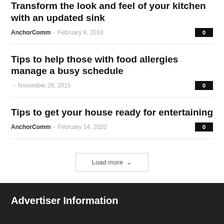Transform the look and feel of your kitchen with an updated sink
AnchorComm - February 8, 2018
Tips to help those with food allergies manage a busy schedule
November 28, 2015
Tips to get your house ready for entertaining
AnchorComm - February 14, 2020
Load more
Advertiser Information